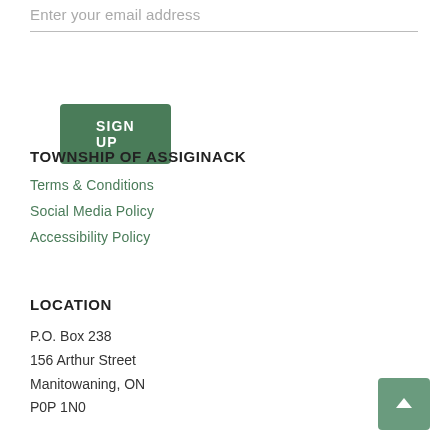Enter your email address
SIGN UP
TOWNSHIP OF ASSIGINACK
Terms & Conditions
Social Media Policy
Accessibility Policy
LOCATION
P.O. Box 238
156 Arthur Street
Manitowaning, ON
P0P 1N0